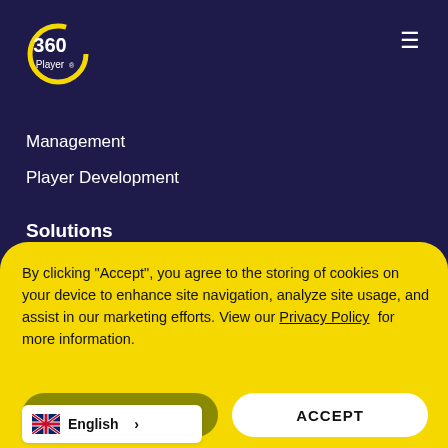[Figure (logo): 360Player logo — circular arc with '360 Player' text in white and yellow on dark navy background]
Management
Player Development
Solutions
For Academies
By clicking “Accept”, you agree to the storing of cookies on your device to enhance site navigation, analyze site usage, and assist in our marketing efforts. View our Privacy Policy  for more information.
DENY
ACCEPT
English >